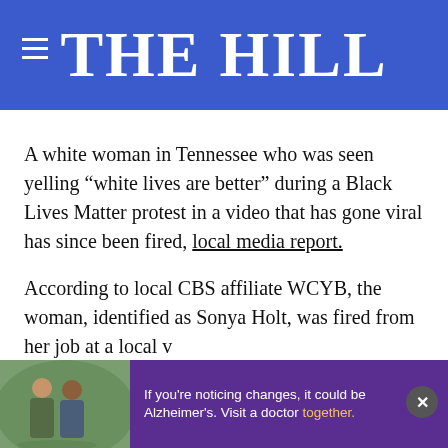THE HILL
A white woman in Tennessee who was seen yelling “white lives are better” during a Black Lives Matter protest in a video that has gone viral has since been fired, local media report.
According to local CBS affiliate WCYB, the woman, identified as Sonya Holt, was fired from her job at a local v
[Figure (photo): Advertisement overlay showing two people with text: If you're noticing changes, it could be Alzheimer's. Visit a doctor together.]